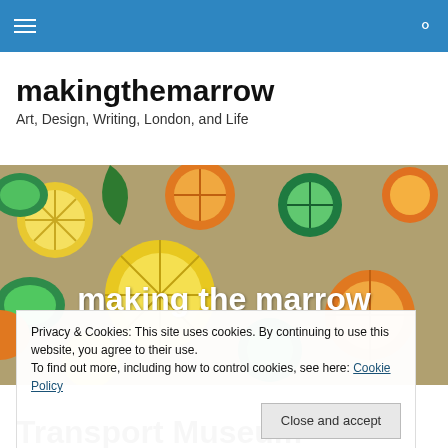makingthemarrow navigation bar
makingthemarrow
Art, Design, Writing, London, and Life
[Figure (photo): Photo of colourful paper cut-out citrus fruit shapes (lemons, limes, oranges) scattered on a surface, with white bold text overlay reading 'making the marrow']
Privacy & Cookies: This site uses cookies. By continuing to use this website, you agree to their use.
To find out more, including how to control cookies, see here: Cookie Policy
Close and accept
Transport Museum